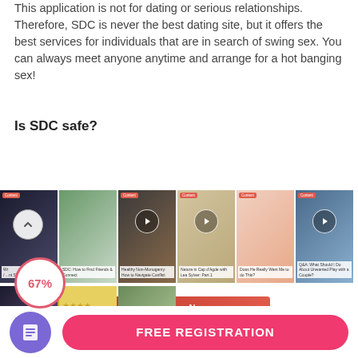This application is not for dating or serious relationships. Therefore, SDC is never the best dating site, but it offers the best services for individuals that are in search of swing sex. You can always meet anyone anytime and arrange for a hot banging sex!
Is SDC safe?
[Figure (screenshot): SDC website banner with logo badge and 'Join Free Now' red button, followed by a grid of article thumbnail images and a 67% badge overlay]
[Figure (infographic): Footer bar with purple icon circle (document icon) and a pink 'FREE REGISTRATION' rounded button]